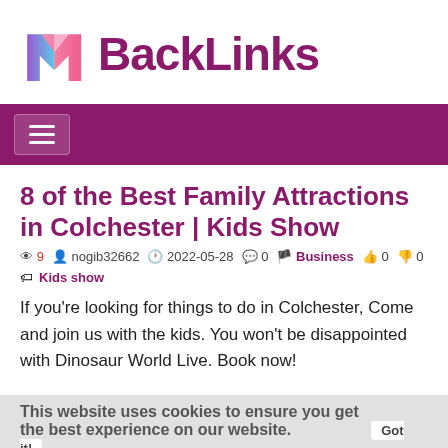[Figure (logo): MBackLinks logo with colorful M icon and purple BackLinks text]
[Figure (screenshot): Purple navigation bar with hamburger menu icon]
8 of the Best Family Attractions in Colchester | Kids Show
This website uses cookies to ensure you get the best experience on our website. Got it!
👁 9  nogib32662  2022-05-28  0  Business  0  0
Kids show
If you're looking for things to do in Colchester, Come and join us with the kids. You won't be disappointed with Dinosaur World Live. Book now!